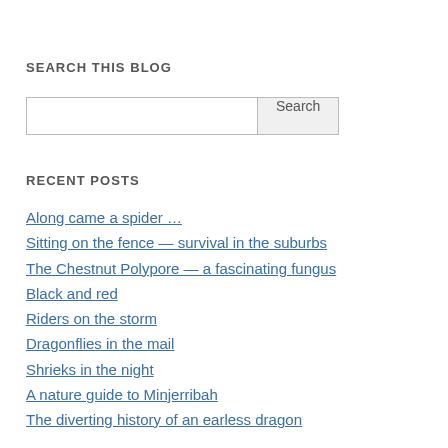SEARCH THIS BLOG
[Search input box] [Search button]
RECENT POSTS
Along came a spider …
Sitting on the fence — survival in the suburbs
The Chestnut Polypore — a fascinating fungus
Black and red
Riders on the storm
Dragonflies in the mail
Shrieks in the night
A nature guide to Minjerribah
The diverting history of an earless dragon